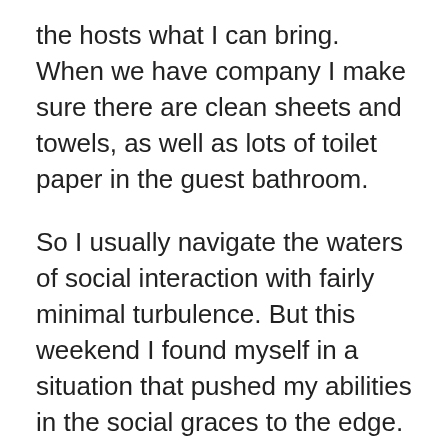the hosts what I can bring. When we have company I make sure there are clean sheets and towels, as well as lots of toilet paper in the guest bathroom.
So I usually navigate the waters of social interaction with fairly minimal turbulence. But this weekend I found myself in a situation that pushed my abilities in the social graces to the edge.
My husband and I were invited to be the first dinner guests at the new home of some friends. After presenting them with a housewarming mum and taking a tour of their new place, we sat down to dinner. Once again